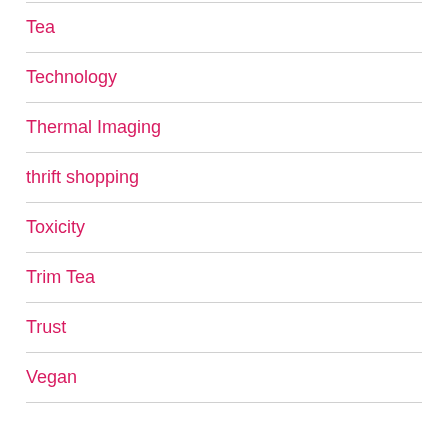Tea
Technology
Thermal Imaging
thrift shopping
Toxicity
Trim Tea
Trust
Vegan